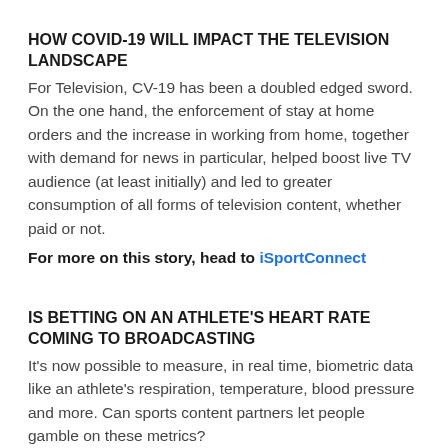HOW COVID-19 WILL IMPACT THE TELEVISION LANDSCAPE
For Television, CV-19 has been a doubled edged sword. On the one hand, the enforcement of stay at home orders and the increase in working from home, together with demand for news in particular, helped boost live TV audience (at least initially) and led to greater consumption of all forms of television content, whether paid or not.
For more on this story, head to iSportConnect
IS BETTING ON AN ATHLETE'S HEART RATE COMING TO BROADCASTING
It's now possible to measure, in real time, biometric data like an athlete's respiration, temperature, blood pressure and more. Can sports content partners let people gamble on these metrics?